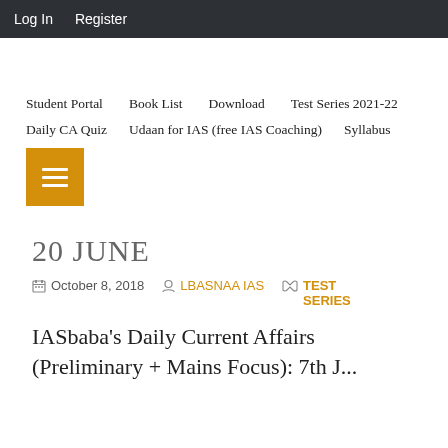Log In  Register
Student Portal
Book List
Download
Test Series 2021-22
Daily CA Quiz
Udaan for IAS (free IAS Coaching)
Syllabus
[Figure (infographic): Orange hamburger/menu button with three white horizontal lines]
20 JUNE
October 8, 2018  LBASNAA IAS  TEST SERIES
IASbaba's Daily Current Affairs (Preliminary + Mains Focus): 7th J...